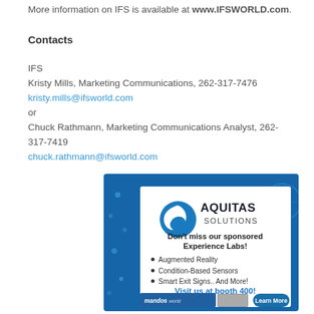More information on IFS is available at www.IFSWORLD.com.
Contacts
IFS
Kristy Mills, Marketing Communications, 262-317-7476
kristy.mills@ifsworld.com
or
Chuck Rathmann, Marketing Communications Analyst, 262-317-7419
chuck.rathmann@ifsworld.com
[Figure (illustration): Aquitas Solutions advertisement banner: blue background with white inner panel, company logo (circular blue wave), text 'Don't miss our sponsored Experience Labs!' with bullet points: Augmented Reality, Condition-Based Sensors, Smart Exit Signs.. And More!, 'Visit us at booth 400!' in blue, and a 'Learn More' button.]